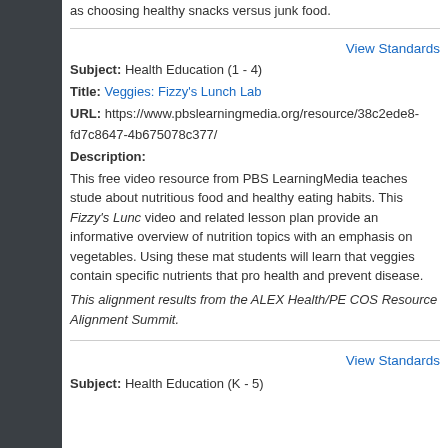as choosing healthy snacks versus junk food.
View Standards
Subject: Health Education (1 - 4)
Title: Veggies: Fizzy's Lunch Lab
URL: https://www.pbslearningmedia.org/resource/38c2ede8-fd7c8647-4b675078c377/
Description:
This free video resource from PBS LearningMedia teaches students about nutritious food and healthy eating habits. This Fizzy's Lunch video and related lesson plan provide an informative overview of nutrition topics with an emphasis on vegetables. Using these materials students will learn that veggies contain specific nutrients that promote health and prevent disease.
This alignment results from the ALEX Health/PE COS Resource Alignment Summit.
View Standards
Subject: Health Education (K - 5)